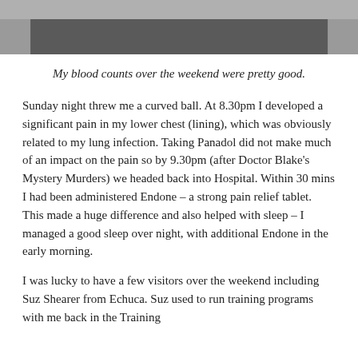[Figure (photo): Partial photograph visible at top of page, showing a darkened indoor scene, cropped.]
My blood counts over the weekend were pretty good.
Sunday night threw me a curved ball.  At 8.30pm I developed a significant pain in my lower chest (lining), which was obviously related to my lung infection. Taking Panadol did not make much of an impact on the pain so by 9.30pm (after Doctor Blake’s Mystery Murders) we headed back into Hospital.  Within 30 mins I had been administered Endone – a strong pain relief tablet.  This made a huge difference and also helped with sleep – I managed a good sleep over night, with additional Endone in the early morning.
I was lucky to have a few visitors over the weekend including Suz Shearer from Echuca.  Suz used to run training programs with me back in the Training